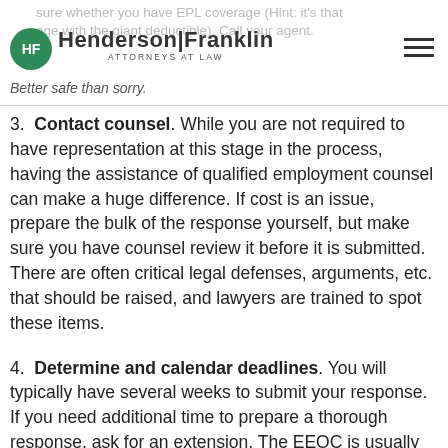sure whether you have EPL coverage (Hint: it's that age with the giant deductible). Call your agent. Better safe than sorry. Henderson|Franklin ATTORNEYS AT LAW
3. Contact counsel. While you are not required to have representation at this stage in the process, having the assistance of qualified employment counsel can make a huge difference. If cost is an issue, prepare the bulk of the response yourself, but make sure you have counsel review it before it is submitted. There are often critical legal defenses, arguments, etc. that should be raised, and lawyers are trained to spot these items.
4. Determine and calendar deadlines. You will typically have several weeks to submit your response. If you need additional time to prepare a thorough response, ask for an extension. The EEOC is usually